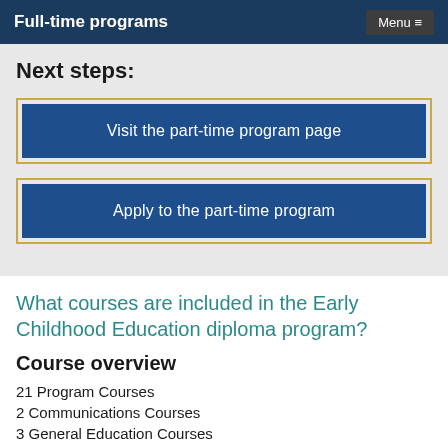Full-time programs
Next steps:
Visit the part-time program page
Apply to the part-time program
What courses are included in the Early Childhood Education diploma program?
Course overview
21 Program Courses
2 Communications Courses
3 General Education Courses